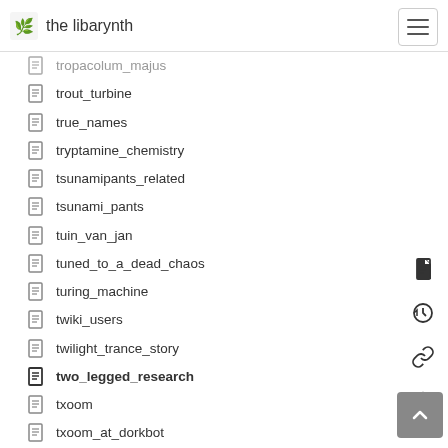the libarynth
tropacolum_majus
trout_turbine
true_names
tryptamine_chemistry
tsunamipants_related
tsunami_pants
tuin_van_jan
tuned_to_a_dead_chaos
turing_machine
twiki_users
twilight_trance_story
two_legged_research
txoom
txoom_at_dorkbot
typeface
types_of_books
type_corruption
type_system
typically_bad